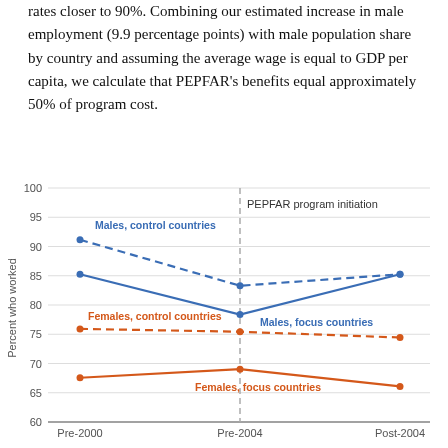rates closer to 90%. Combining our estimated increase in male employment (9.9 percentage points) with male population share by country and assuming the average wage is equal to GDP per capita, we calculate that PEPFAR's benefits equal approximately 50% of program cost.
[Figure (line-chart): PEPFAR program initiation]